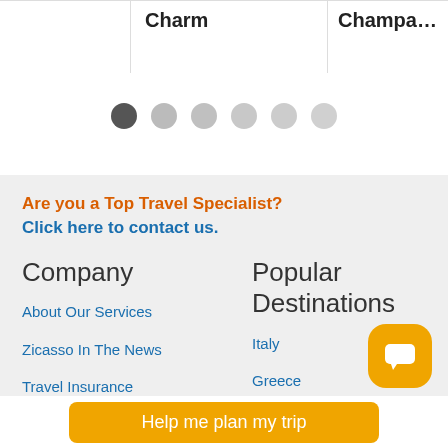Charm
Champa…
[Figure (other): Pagination dots, first dot active (dark), five lighter dots following]
Are you a Top Travel Specialist?
Click here to contact us.
Company
Popular Destinations
About Our Services
Italy
Zicasso In The News
Greece
Travel Insurance
[Figure (other): Orange rounded chat bubble icon with white speech bubble symbol]
Help me plan my trip